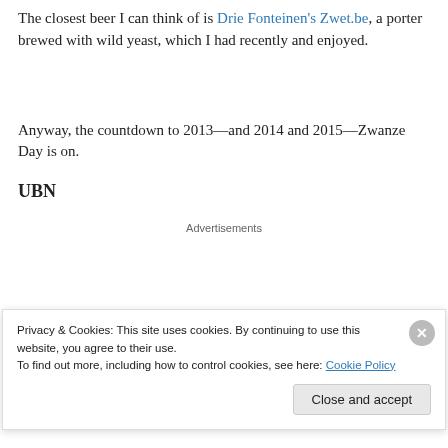The closest beer I can think of is Drie Fonteinen's Zwet.be, a porter brewed with wild yeast, which I had recently and enjoyed.
Anyway, the countdown to 2013—and 2014 and 2015—Zwanze Day is on.
UBN
Advertisements
Privacy & Cookies: This site uses cookies. By continuing to use this website, you agree to their use.
To find out more, including how to control cookies, see here: Cookie Policy